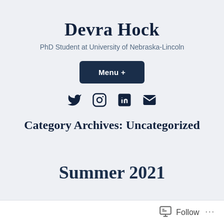Devra Hock
PhD Student at University of Nebraska-Lincoln
[Figure (screenshot): Menu + button (dark navy rounded rectangle)]
[Figure (screenshot): Social media icons: Twitter, Instagram, LinkedIn, Email]
Category Archives: Uncategorized
Summer 2021
Follow ...